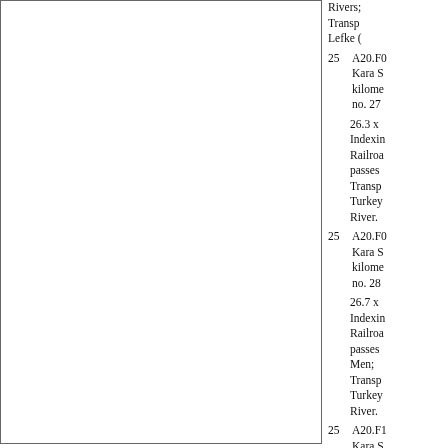Rivers; Transp Lefke (
25   A20.F0 Kara S kilome no. 27
26.3 x Indexin Railroa passes Transp Turkey River.
25   A20.F0 Kara S kilome no. 28
26.7 x Indexin Railroa passes Men; Transp Turkey River.
25   A20.F1 Kara S kilome no. 31
26.5 x